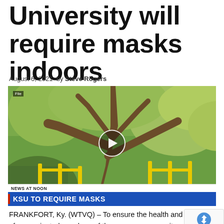University will require masks indoors
August 6, 2021  by Steve Rogers
[Figure (screenshot): Video thumbnail showing outdoor tree scene with play button overlay and TV news lower-third graphic reading 'NEWS AT NOON / KSU TO REQUIRE MASKS']
FRANKFORT, Ky. (WTVQ) – To ensure the health and of unvaccinated members of the campus community ar the recommendation of the Green and Gold Task Force and